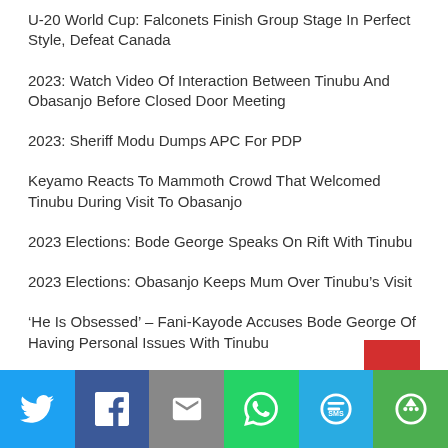U-20 World Cup: Falconets Finish Group Stage In Perfect Style, Defeat Canada
2023: Watch Video Of Interaction Between Tinubu And Obasanjo Before Closed Door Meeting
2023: Sheriff Modu Dumps APC For PDP
Keyamo Reacts To Mammoth Crowd That Welcomed Tinubu During Visit To Obasanjo
2023 Elections: Bode George Speaks On Rift With Tinubu
2023 Elections: Obasanjo Keeps Mum Over Tinubu’s Visit
‘He Is Obsessed’ – Fani-Kayode Accuses Bode George Of Having Personal Issues With Tinubu
Mobile Transactions Rise By N8.9tn In Three Years
[Figure (infographic): Social share bar with icons for Twitter, Facebook, Email, WhatsApp, SMS, and More]